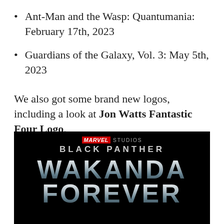Ant-Man and the Wasp: Quantumania: February 17th, 2023
Guardians of the Galaxy, Vol. 3: May 5th, 2023
We also got some brand new logos, including a look at Jon Watts Fantastic Four Logo.
[Figure (photo): Black promotional movie logo on black background: MARVEL STUDIOS BLACK PANTHER WAKANDA FOREVER in large silver/chrome stylized lettering]